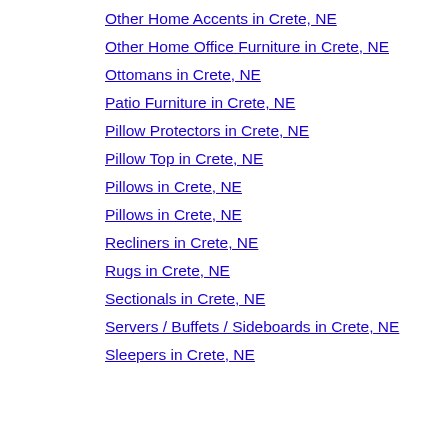Other Home Accents in Crete, NE
Other Home Office Furniture in Crete, NE
Ottomans in Crete, NE
Patio Furniture in Crete, NE
Pillow Protectors in Crete, NE
Pillow Top in Crete, NE
Pillows in Crete, NE
Pillows in Crete, NE
Recliners in Crete, NE
Rugs in Crete, NE
Sectionals in Crete, NE
Servers / Buffets / Sideboards in Crete, NE
Sleepers in Crete, NE